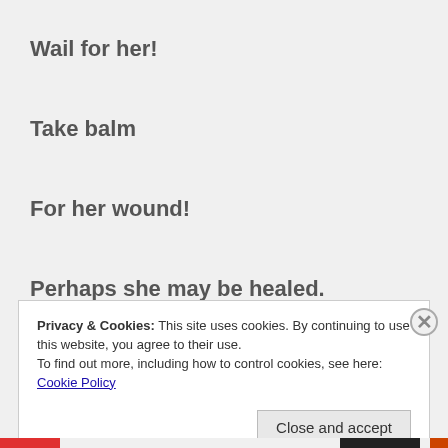Wail for her!
Take balm
For her wound!
Perhaps she may be healed.
We tried
Privacy & Cookies: This site uses cookies. By continuing to use this website, you agree to their use.
To find out more, including how to control cookies, see here: Cookie Policy
Close and accept